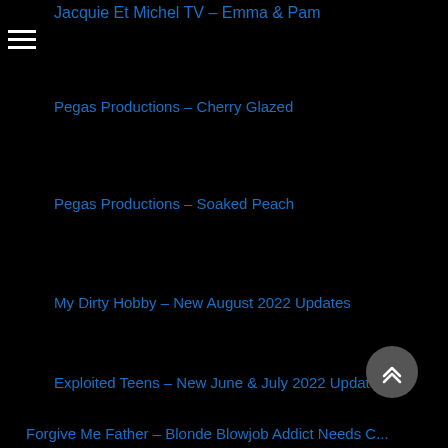Jacquie Et Michel TV – Emma & Pam
Pegas Productions – Cherry Glazed
Pegas Productions – Soaked Peach
My Dirty Hobby – New August 2022 Updates
Exploited Teens – New June & July 2022 Updates
Forgive Me Father – Blonde Blowjob Addict Needs C...